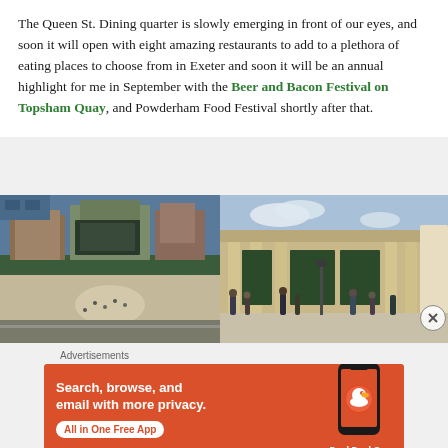The Queen St. Dining quarter is slowly emerging in front of our eyes, and soon it will open with eight amazing restaurants to add to a plethora of eating places to choose from in Exeter and soon it will be an annual highlight for me in September with the Beer and Bacon Festival on Topsham Quay, and Powderham Food Festival shortly after that.
[Figure (photo): Aerial view of a city block with buildings, green trees, and people in a plaza]
[Figure (photo): Street-level view of a neoclassical building facade with columns and pedestrians walking]
Advertisements
[Figure (infographic): DuckDuckGo advertisement banner: Search, browse, and email with more privacy. All in One Free App. Shows DuckDuckGo logo and smartphone graphic.]